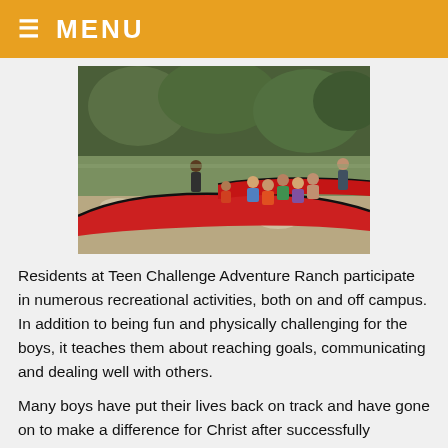≡ MENU
[Figure (photo): Group of boys with red canoes on a rocky riverbank, with instructors standing and greenery in background. Teen Challenge Adventure Ranch recreational canoeing activity.]
Residents at Teen Challenge Adventure Ranch participate in numerous recreational activities, both on and off campus. In addition to being fun and physically challenging for the boys, it teaches them about reaching goals, communicating and dealing well with others.
Many boys have put their lives back on track and have gone on to make a difference for Christ after successfully finishing Teen Challenge Adventure Ranch for Boys. We would be happy to talk with you to see if our boarding school is a good option